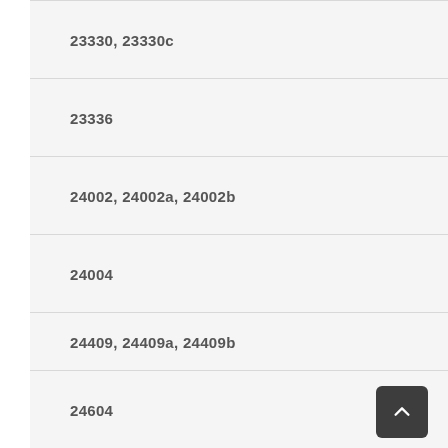23330, 23330c
23336
24002, 24002a, 24002b
24004
24250
24409, 24409a, 24409b
24604